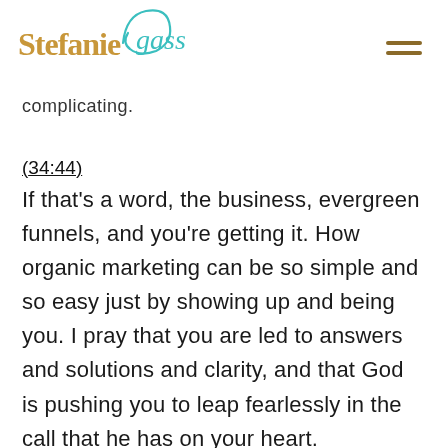Stefanie Gass
complicating.
(34:44)
If that's a word, the business, evergreen funnels, and you're getting it. How organic marketing can be so simple and so easy just by showing up and being you. I pray that you are led to answers and solutions and clarity, and that God is pushing you to leap fearlessly in the call that he has on your heart.
(35:02)